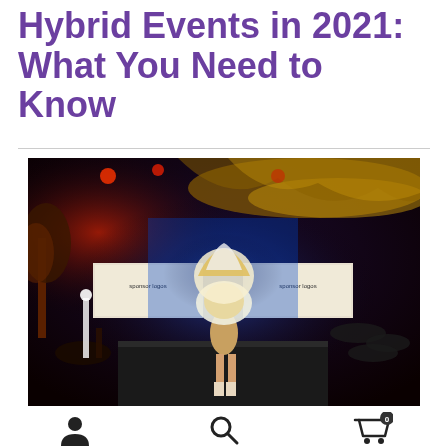Hybrid Events in 2021: What You Need to Know
[Figure (photo): A performer in a colorful carnival costume with feathered headdress on a stage at a gala event, with screens showing sponsor logos, audience tables in the background, and dramatic red and blue lighting.]
User icon, Search icon, Cart icon with badge showing 0